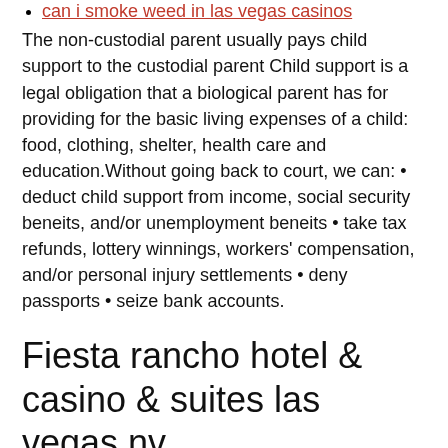can i smoke weed in las vegas casinos
The non-custodial parent usually pays child support to the custodial parent Child support is a legal obligation that a biological parent has for providing for the basic living expenses of a child: food, clothing, shelter, health care and education.Without going back to court, we can: • deduct child support from income, social security beneits, and/or unemployment beneits • take tax refunds, lottery winnings, workers' compensation, and/or personal injury settlements • deny passports • seize bank accounts.
Fiesta rancho hotel & casino & suites las vegas nv
This is a huge amount of money to possibly be withheld.The winnings do not appear to be income for purposes of child support (Florida Statutes § 61.This income must be reported on your federal income tax return.The tool is designed for taxpayers who were [].The form contains information that